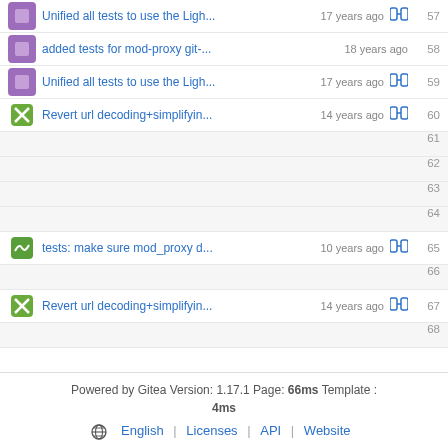Unified all tests to use the Ligh... 17 years ago  57
added tests for mod-proxy git-... 18 years ago  58
Unified all tests to use the Ligh... 17 years ago  59
Revert url decoding+simplifyin... 14 years ago  60
61
62
63
64
tests: make sure mod_proxy d... 10 years ago  65
66
Revert url decoding+simplifyin... 14 years ago  67
68
Powered by Gitea Version: 1.17.1 Page: 66ms Template : 4ms  English | Licenses | API | Website